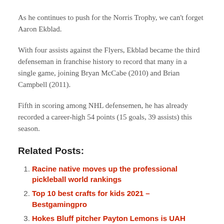As he continues to push for the Norris Trophy, we can't forget Aaron Ekblad.
With four assists against the Flyers, Ekblad became the third defenseman in franchise history to record that many in a single game, joining Bryan McCabe (2010) and Brian Campbell (2011).
Fifth in scoring among NHL defensemen, he has already recorded a career-high 54 points (15 goals, 39 assists) this season.
Related Posts:
Racine native moves up the professional pickleball world rankings
Top 10 best crafts for kids 2021 – Bestgamingpro
Hokes Bluff pitcher Payton Lemons is UAH baseball signing
How to guess the height in MLB The Show 21